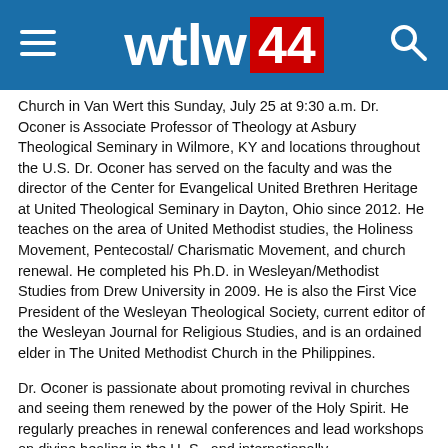wtlw 44
Church in Van Wert this Sunday, July 25 at 9:30 a.m. Dr. Oconer is Associate Professor of Theology at Asbury Theological Seminary in Wilmore, KY and locations throughout the U.S. Dr. Oconer has served on the faculty and was the director of the Center for Evangelical United Brethren Heritage at United Theological Seminary in Dayton, Ohio since 2012. He teaches on the area of United Methodist studies, the Holiness Movement, Pentecostal/ Charismatic Movement, and church renewal. He completed his Ph.D. in Wesleyan/Methodist Studies from Drew University in 2009. He is also the First Vice President of the Wesleyan Theological Society, current editor of the Wesleyan Journal for Religious Studies, and is an ordained elder in The United Methodist Church in the Philippines.
Dr. Oconer is passionate about promoting revival in churches and seeing them renewed by the power of the Holy Spirit. He regularly preaches in renewal conferences and lead workshops on divine healing in the U. S., and internationally.
Dr. Oconer will be speaking on the Convincing Work of the Holy Spirit from the Gospel of John 16:7-11. Michaela Johnson will be leading in the music ministry along with organist, Scott Turner. First Church is currently holding one worship service